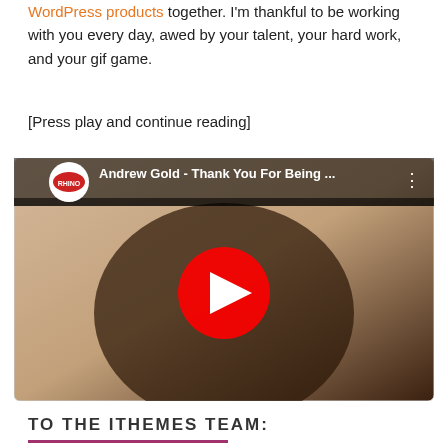WordPress products together. I'm thankful to be working with you every day, awed by your talent, your hard work, and your gif game.
[Press play and continue reading]
[Figure (screenshot): YouTube video thumbnail showing Andrew Gold - Thank You For Being ... with a bearded man's face and a red play button overlay. Channel logo shows RHINO in top left.]
TO THE ITHEMES TEAM: